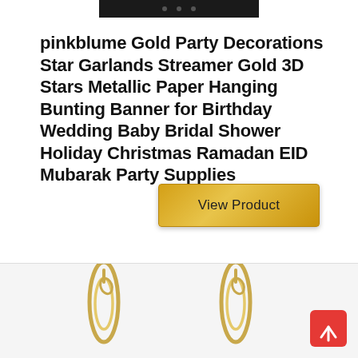[Figure (screenshot): Dark image bar at top of product card]
pinkblume Gold Party Decorations Star Garlands Streamer Gold 3D Stars Metallic Paper Hanging Bunting Banner for Birthday Wedding Baby Bridal Shower Holiday Christmas Ramadan EID Mubarak Party Supplies
View Product
[Figure (photo): Gold chain jewelry items shown at bottom of page]